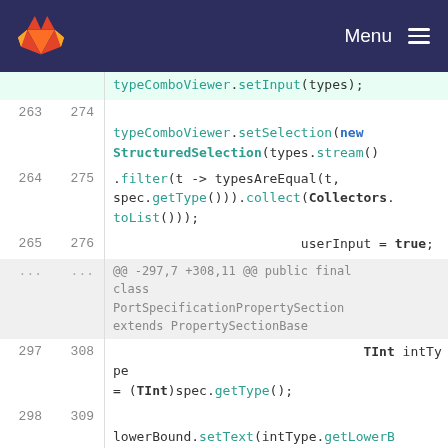GitLab — Menu
typeComboViewer.setInput(types);
263 274
    typeComboViewer.setSelection(new StructuredSelection(types.stream()
264 275
    .filter(t -> typesAreEqual(t, spec.getType())).collect(Collectors.toList()));
265 276
                        userInput = true;
... ...
    @@ -297,7 +308,11 @@ public final class PortSpecificationPropertySection extends PropertySectionBase
297 308
                                TInt intType = (TInt)spec.getType();
298 309
    lowerBound.setText(intType.getLowerBound() + "");
299 310
    upperBound.setText(intType.getUpperB